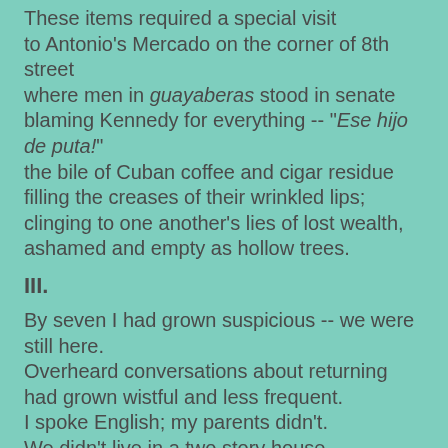These items required a special visit to Antonio's Mercado on the corner of 8th street where men in guayaberas stood in senate blaming Kennedy for everything -- "Ese hijo de puta!" the bile of Cuban coffee and cigar residue filling the creases of their wrinkled lips; clinging to one another's lies of lost wealth, ashamed and empty as hollow trees.
III.
By seven I had grown suspicious -- we were still here. Overheard conversations about returning had grown wistful and less frequent. I spoke English; my parents didn't. We didn't live in a two story house with a maid or a wood panel station wagon nor vacation camping in Colorado. None of the girls had hair of gold; none of my brothers or cousins were named Greg, Peter, or Marcia; we were not the Brady Bunch.